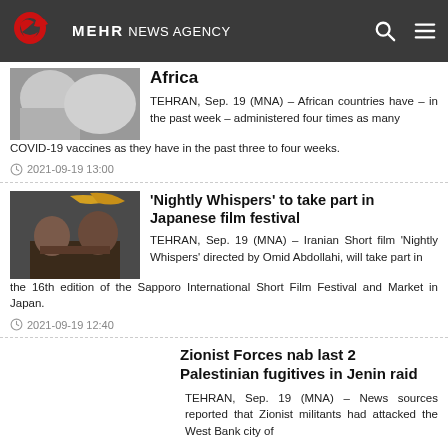MEHR NEWS AGENCY
Africa
TEHRAN, Sep. 19 (MNA) – African countries have – in the past week – administered four times as many COVID-19 vaccines as they have in the past three to four weeks.
2021-09-19 13:00
'Nightly Whispers' to take part in Japanese film festival
TEHRAN, Sep. 19 (MNA) – Iranian Short film 'Nightly Whispers' directed by Omid Abdollahi, will take part in the 16th edition of the Sapporo International Short Film Festival and Market in Japan.
2021-09-19 12:40
Zionist Forces nab last 2 Palestinian fugitives in Jenin raid
TEHRAN, Sep. 19 (MNA) – News sources reported that Zionist militants had attacked the West Bank city of Jenin and re-arrested the last Palestinian prisoners who has escaped from Gilboa prison.